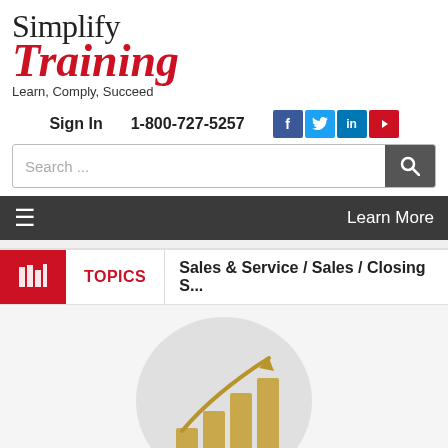[Figure (logo): Simplify Training logo with tagline Learn, Comply, Succeed]
Sign In   1-800-727-5257
[Figure (illustration): Social media icons: Facebook, Twitter, LinkedIn, YouTube]
Search ...
≡   Learn More
TOPICS   Sales & Service / Sales / Closing S...
[Figure (illustration): Bar chart growth icon with arrow inside a grey circle]